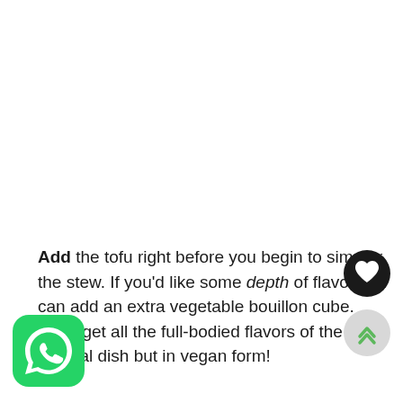Add the tofu right before you begin to simmer the stew. If you'd like some depth of flavor you can add an extra vegetable bouillon cube. You'll get all the full-bodied flavors of the original dish but in vegan form!
[Figure (illustration): Black circular heart/favorite button with white heart icon]
[Figure (illustration): Light gray circular scroll-to-top button with green chevron up arrows]
[Figure (logo): WhatsApp green rounded square logo with white phone handset icon]